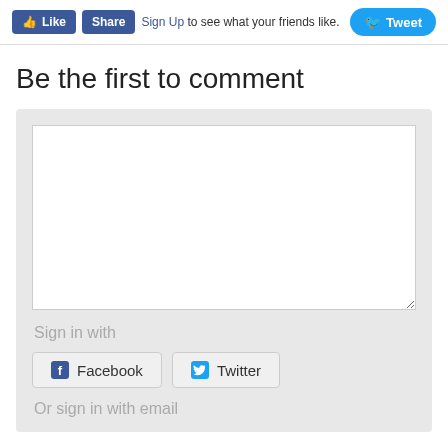[Figure (screenshot): Social media action bar with Like button, Share button, 'Sign Up to see what your friends like.' text, and Tweet button]
Be the first to comment
[Figure (screenshot): Comment form area with large text input box, 'Sign in with' label, Facebook and Twitter sign-in buttons, and 'Or sign in with email' text at bottom]